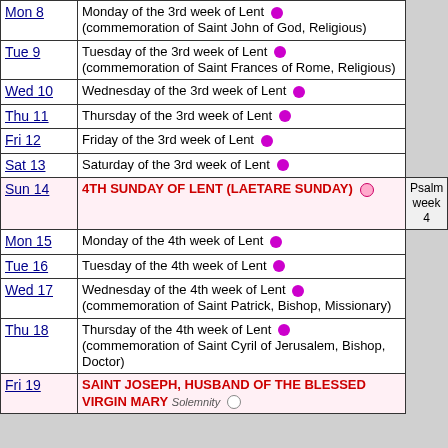| Date | Description | Psalm |
| --- | --- | --- |
| Mon 8 | Monday of the 3rd week of Lent ● (commemoration of Saint John of God, Religious) |  |
| Tue 9 | Tuesday of the 3rd week of Lent ● (commemoration of Saint Frances of Rome, Religious) |  |
| Wed 10 | Wednesday of the 3rd week of Lent ● |  |
| Thu 11 | Thursday of the 3rd week of Lent ● |  |
| Fri 12 | Friday of the 3rd week of Lent ● |  |
| Sat 13 | Saturday of the 3rd week of Lent ● |  |
| Sun 14 | 4TH SUNDAY OF LENT (LAETARE SUNDAY) ○ | Psalm week 4 |
| Mon 15 | Monday of the 4th week of Lent ● |  |
| Tue 16 | Tuesday of the 4th week of Lent ● |  |
| Wed 17 | Wednesday of the 4th week of Lent ● (commemoration of Saint Patrick, Bishop, Missionary) |  |
| Thu 18 | Thursday of the 4th week of Lent ● (commemoration of Saint Cyril of Jerusalem, Bishop, Doctor) |  |
| Fri 19 | SAINT JOSEPH, HUSBAND OF THE BLESSED VIRGIN MARY Solemnity ○ |  |